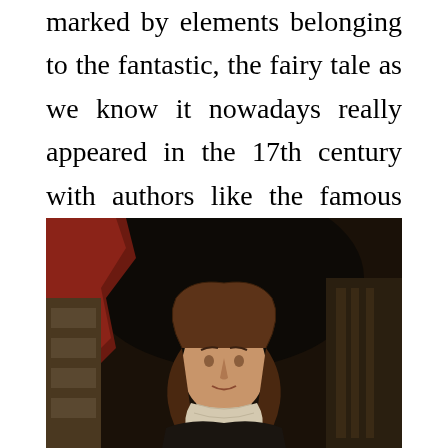marked by elements belonging to the fantastic, the fairy tale as we know it nowadays really appeared in the 17th century with authors like the famous Charles Perrault.
[Figure (photo): Portrait painting of Charles Perrault, a 17th century French author, shown from the waist up wearing period clothing with lace collar, set against a dark background with drapery and architectural elements.]